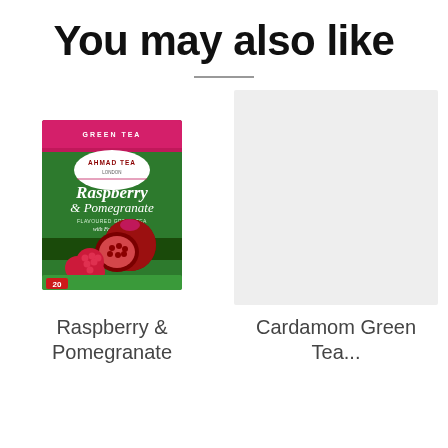You may also like
[Figure (photo): Ahmad Tea Raspberry & Pomegranate green tea box, 20 tea bags, green box with pink top, featuring raspberries and pomegranate fruits on the front]
[Figure (photo): Cardamom Green Tea product image placeholder (light gray box, product not fully visible)]
Raspberry & Pomegranate
Cardamom Green Tea...